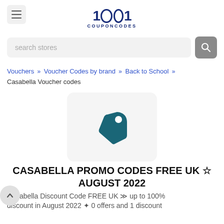1001 COUPONCODES
search stores
Vouchers » Voucher Codes by brand » Back to School » Casabella Voucher codes
[Figure (logo): Price tag icon in teal color on light gray rounded square background]
CASABELLA PROMO CODES FREE UK ☆ AUGUST 2022
Casabella Discount Code FREE UK ≫ up to 100% discount in August 2022 ✦ 0 offers and 1 discount